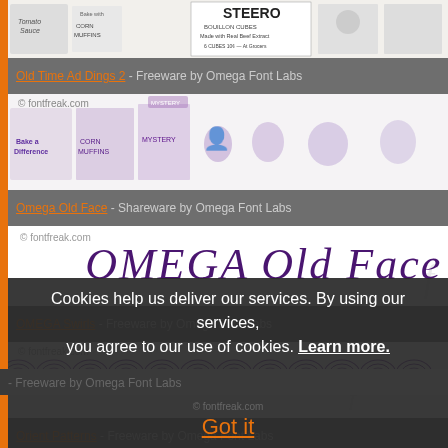[Figure (illustration): Old Time Ad Dings 2 font preview strip showing vintage advertisement illustrations including food products, STEERO bouillon cubes, and other retro ad imagery in black and white]
Old Time Ad Dings 2 - Freeware by Omega Font Labs
[Figure (illustration): Omega Old Face font preview strip showing vintage advertisement illustrations with people and product boxes in purple/dark color]
Omega Old Face - Shareware by Omega Font Labs
[Figure (illustration): Preview of Omega Old Face font showing stylized italic text 'OMEGA Old Face' in large purple lettering with fontfreak.com watermark]
OMEGA Swirls - Freeware by Omega Font Labs
[Figure (illustration): OMEGA Swirls font preview showing a row of decorative spiral/swirl dingbat characters in purple]
Orient Patterns - Freeware by Omega Font Labs
Cookies help us deliver our services. By using our services, you agree to our use of cookies. Learn more.
Got it